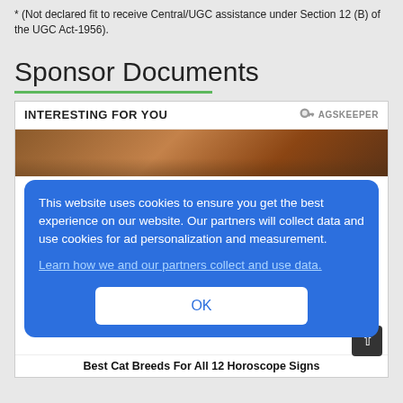* (Not declared fit to receive Central/UGC assistance under Section 12 (B) of the UGC Act-1956).
Sponsor Documents
[Figure (screenshot): Advertisement widget with 'INTERESTING FOR YOU' header and AGSKEEPER logo, showing a cat image partially visible behind a cookie consent overlay popup with blue background. The popup reads: 'This website uses cookies to ensure you get the best experience on our website. Our partners will collect data and use cookies for ad personalization and measurement.' with a 'Learn how we and our partners collect and use data.' link and an OK button. Below the popup partially visible text reads 'Best Cat Breeds For All 12 Horoscope Signs'.]